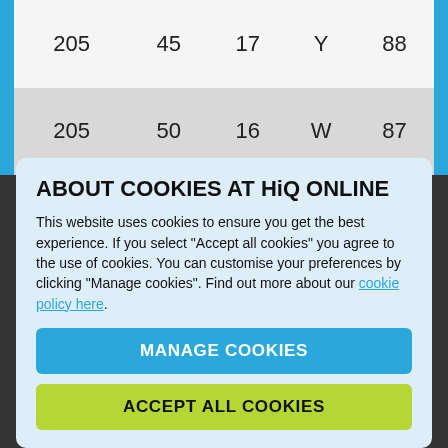| 205 | 45 | 17 | Y | 88 |
| 205 | 50 | 16 | W | 87 |
ABOUT COOKIES AT HiQ ONLINE
This website uses cookies to ensure you get the best experience. If you select "Accept all cookies" you agree to the use of cookies. You can customise your preferences by clicking "Manage cookies". Find out more about our cookie policy here.
MANAGE COOKIES
ACCEPT ALL COOKIES